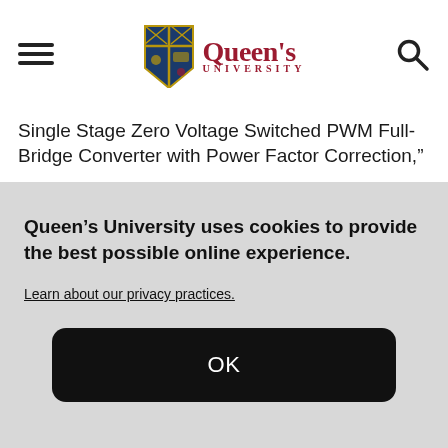Queen's University
Single Stage Zero Voltage Switched PWM Full-Bridge Converter with Power Factor Correction,”
Queen’s University uses cookies to provide the best possible online experience.
Learn about our privacy practices.
OK